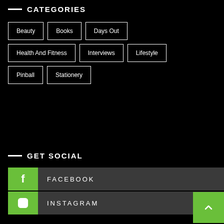CATEGORIES
Beauty
Books
Days Out
Health And Fitness
Interviews
Lifestyle
Pinball
Stationery
GET SOCIAL
FACEBOOK
INSTAGRAM